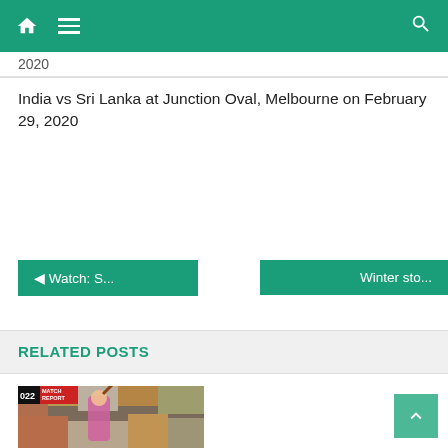Navigation bar with home, menu, and search icons
2020
India vs Sri Lanka at Junction Oval, Melbourne on February 29, 2020
◄ Watch: S...
Winter sto...
RELATED POSTS
[Figure (photo): Cricket player in pink jersey celebrating with raised bat, crowd in background, with '022 MATCH REPORT' badge overlay]